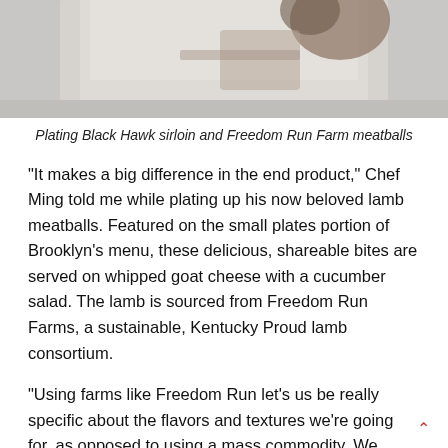[Figure (photo): A person plating food, wearing a white outfit, hands visible holding a tray or plate, soft neutral background.]
Plating Black Hawk sirloin and Freedom Run Farm meatballs
“It makes a big difference in the end product,” Chef Ming told me while plating up his now beloved lamb meatballs. Featured on the small plates portion of Brooklyn’s menu, these delicious, shareable bites are served on whipped goat cheese with a cucumber salad. The lamb is sourced from Freedom Run Farms, a sustainable, Kentucky Proud lamb consortium.
“Using farms like Freedom Run let’s us be really specific about the flavors and textures we’re going for, as opposed to using a mass commodity. We know the farmers, the hybrids, the way they’re fed, and we don’t have to worry about the quality being there when the truck shows up.”
In addition to providing the rich, bold flavors Chef Ming needs